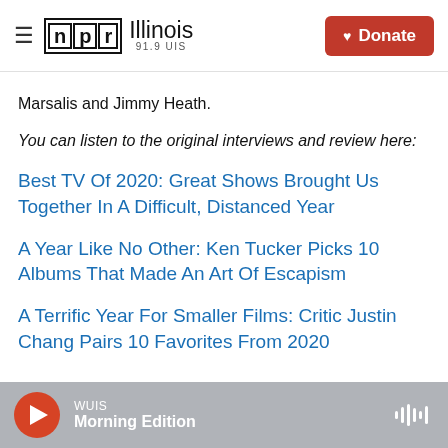NPR Illinois 91.9 UIS — Donate
Marsalis and Jimmy Heath.
You can listen to the original interviews and review here:
Best TV Of 2020: Great Shows Brought Us Together In A Difficult, Distanced Year
A Year Like No Other: Ken Tucker Picks 10 Albums That Made An Art Of Escapism
A Terrific Year For Smaller Films: Critic Justin Chang Pairs 10 Favorites From 2020
WUIS Morning Edition